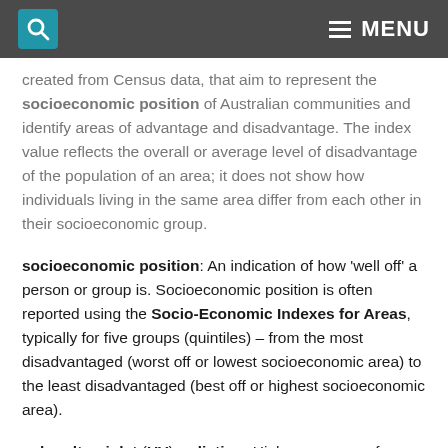MENU
created from Census data, that aim to represent the socioeconomic position of Australian communities and identify areas of advantage and disadvantage. The index value reflects the overall or average level of disadvantage of the population of an area; it does not show how individuals living in the same area differ from each other in their socioeconomic group.
socioeconomic position: An indication of how 'well off' a person or group is. Socioeconomic position is often reported using the Socio-Economic Indexes for Areas, typically for five groups (quintiles) – from the most disadvantaged (worst off or lowest socioeconomic area) to the least disadvantaged (best off or highest socioeconomic area).
solar ultraviolet (UV) radiation: High-energy rays from the sun which are invisible to the human eye. UV radiation is divided into three types according to wavelength (UVA, UVB and UVC). UVA, and to a lesser extent UVB, are not wholly absorbed by